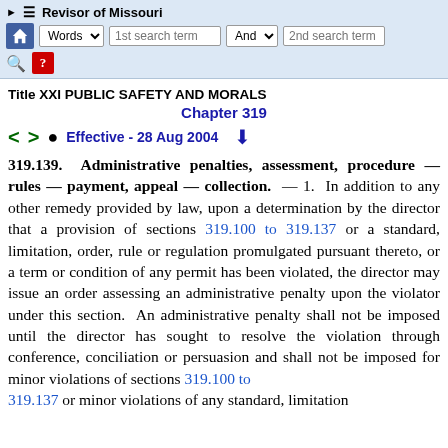Revisor of Missouri — toolbar navigation
Title XXI PUBLIC SAFETY AND MORALS
Chapter 319
Effective - 28 Aug 2004
319.139. Administrative penalties, assessment, procedure — rules — payment, appeal — collection. — 1. In addition to any other remedy provided by law, upon a determination by the director that a provision of sections 319.100 to 319.137 or a standard, limitation, order, rule or regulation promulgated pursuant thereto, or a term or condition of any permit has been violated, the director may issue an order assessing an administrative penalty upon the violator under this section. An administrative penalty shall not be imposed until the director has sought to resolve the violation through conference, conciliation or persuasion and shall not be imposed for minor violations of sections 319.100 to 319.137 or minor violations of any standard, limitation